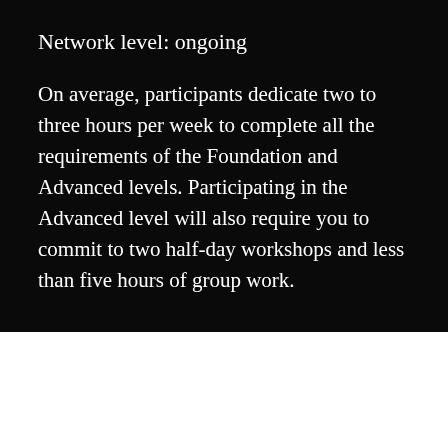Network level: ongoing
On average, participants dedicate two to three hours per week to complete all the requirements of the Foundation and Advanced levels. Participating in the Advanced level will also require you to commit to two half-day workshops and less than five hours of group work.
Want To Submit A Story? Chat With Us